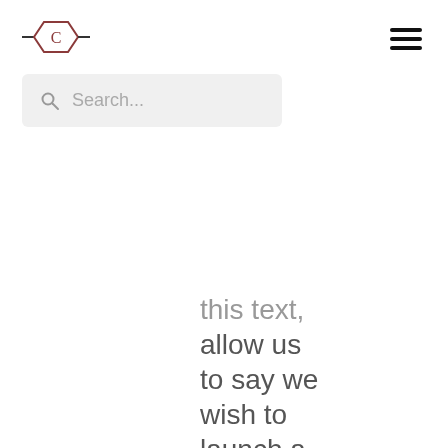[Figure (logo): Hexagonal logo with letter C and horizontal lines through it]
Search...
this text, allow us to say we wish to launch a brand new exercise NewActivity when 32° is clicked and we move an additional